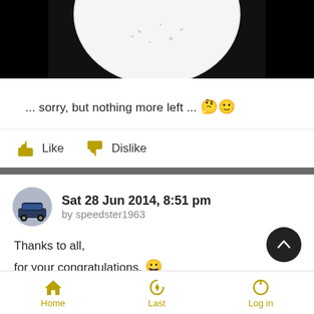[Figure (photo): Top portion of a white plate with crumbs/food remnants on a dark background, partially cropped]
... sorry, but nothing more left ... 🤔🙂
Like   Dislike
Sat 28 Jun 2014, 8:51 pm
by speedster1963
Thanks to all,
for your congratulations. 😀
But the time for celebration is over...
Home   Last   Log in